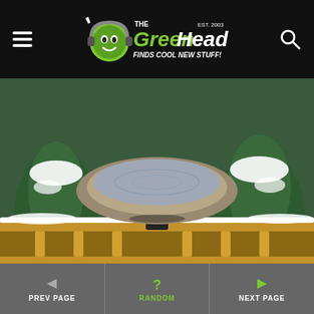The Green Head - Finds Cool New Stuff!
[Figure (photo): A beige/tan heated bird bath mounted on a wooden deck railing with snow-covered pine trees in the background. The bird bath is filled with water (not frozen), mounted via a tilt mount bracket on the railing.]
Birds
Heated Bird Bath With Tilt Mount
PREV PAGE | RANDOM | NEXT PAGE